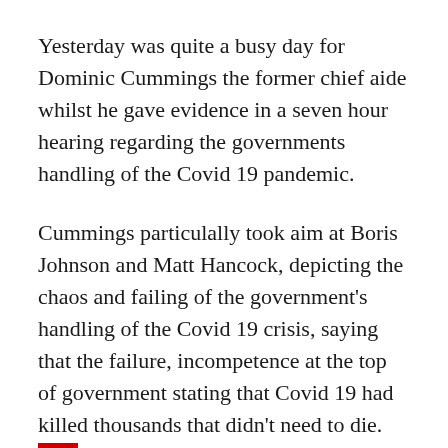Yesterday was quite a busy day for Dominic Cummings the former chief aide whilst he gave evidence in a seven hour hearing regarding the governments handling of the Covid 19 pandemic.
Cummings particulally took aim at Boris Johnson and Matt Hancock, depicting the chaos and failing of the government's handling of the Covid 19 crisis, saying that the failure, incompetence at the top of government stating that Covid 19 had killed thousands that didn't need to die.
Whilst many people had already realised that Prime Minister Johnson anti lockdown,